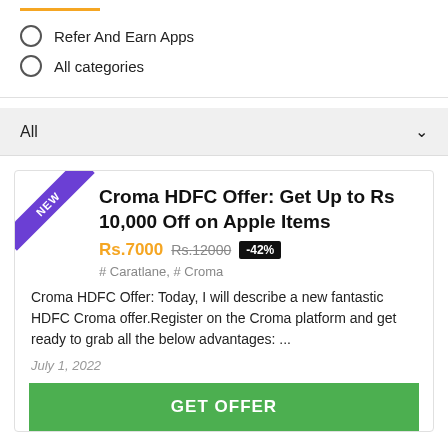Refer And Earn Apps
All categories
All
Croma HDFC Offer: Get Up to Rs 10,000 Off on Apple Items
Rs.7000 Rs.12000 -42%
# Caratlane, # Croma
Croma HDFC Offer: Today, I will describe a new fantastic HDFC Croma offer.Register on the Croma platform and get ready to grab all the below advantages: ...
July 1, 2022
GET OFFER